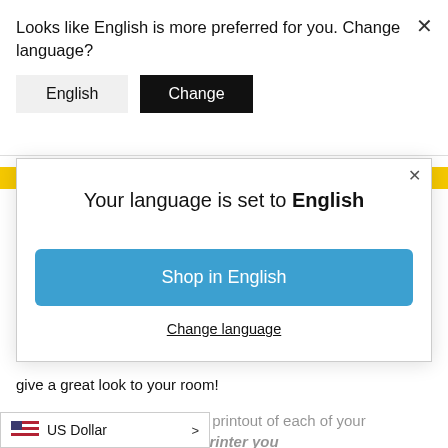Looks like English is more preferred for you. Change language?
[Figure (screenshot): Two buttons: 'English' (light gray background) and 'Change' (black background, white text)]
[Figure (screenshot): Modal dialog with text 'Your language is set to English', a blue 'Shop in English' button, and a 'Change language' underlined link. Close X button in top right.]
give a great look to your room!
You can get a postcard sized printout of each of your sing the Kodak Dock Plus Printer you can buy from here!
[Figure (screenshot): US Dollar currency selector bar with US flag icon and arrow]